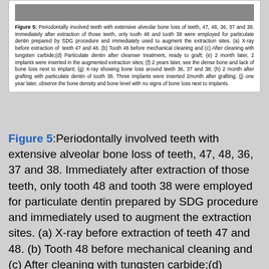[Figure (photo): Strip of dental X-ray or clinical photos at top of figure box, partially visible]
Figure 5: Periodontally involved teeth with extensive alveolar bone loss of teeth, 47, 48, 36, 37 and 38. Immediately after extraction of those teeth, only tooth 48 and tooth 38 were employed for particulate dentin prepared by SDG procedure and immediately used to augment the extraction sites. (a) X-ray before extraction of teeth 47 and 48. (b) Tooth 48 before mechanical cleaning and (c) After cleaning with tungsten carbide;(d) Particulate dentin after cleanser treatment, ready to graft; (e) 2 month later, 2 implants were inserted in the augmented extraction sites; (f) 2 years later, see the dense bone and lack of bone loss next to implant; (g) X-ray showing bone loss around teeth 36, 37 and 38; (h) 2 month after grafting with particulate dentin of tooth 38. Three implants were inserted 2month after grafting; (j) one year later, observe the bone density and bone level with no signs of bone loss next to implants.
Figure 5:Periodontally involved teeth with extensive alveolar bone loss of teeth, 47, 48, 36, 37 and 38. Immediately after extraction of those teeth, only tooth 48 and tooth 38 were employed for particulate dentin prepared by SDG procedure and immediately used to augment the extraction sites. (a) X-ray before extraction of teeth 47 and 48. (b) Tooth 48 before mechanical cleaning and (c) After cleaning with tungsten carbide;(d) Particulate dentin after cleanser treatment, ready to graft; (e) 2 month later, 2 implants were inserted in the augmented extraction sites; (f) 2 years later, see the dense bone and lack of bone loss